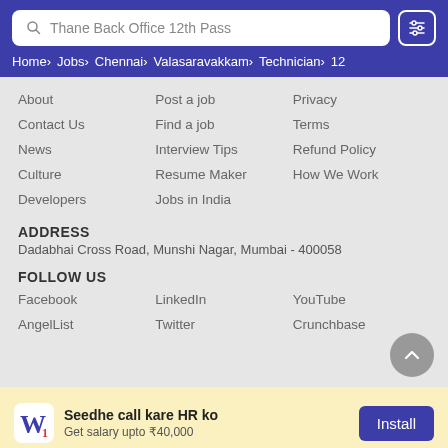Thane Back Office 12th Pass | Home › Jobs › Chennai › Valasaravakkam › Technician › 12
About
Post a job
Privacy
Contact Us
Find a job
Terms
News
Interview Tips
Refund Policy
Culture
Resume Maker
How We Work
Developers
Jobs in India
ADDRESS
Dadabhai Cross Road, Munshi Nagar, Mumbai - 400058
FOLLOW US
Facebook
LinkedIn
YouTube
AngelList
Twitter
Crunchbase
Seedhe call kare HR ko
Get salary upto ₹40,000